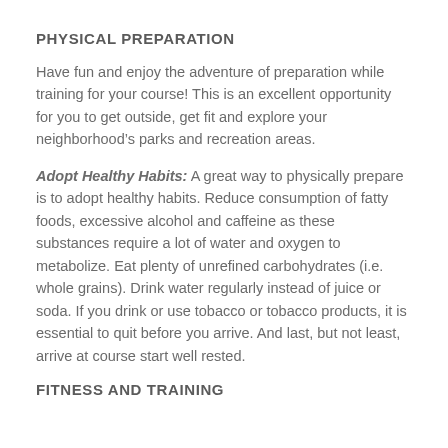PHYSICAL PREPARATION
Have fun and enjoy the adventure of preparation while training for your course! This is an excellent opportunity for you to get outside, get fit and explore your neighborhood's parks and recreation areas.
Adopt Healthy Habits: A great way to physically prepare is to adopt healthy habits. Reduce consumption of fatty foods, excessive alcohol and caffeine as these substances require a lot of water and oxygen to metabolize. Eat plenty of unrefined carbohydrates (i.e. whole grains). Drink water regularly instead of juice or soda. If you drink or use tobacco or tobacco products, it is essential to quit before you arrive. And last, but not least, arrive at course start well rested.
FITNESS AND TRAINING